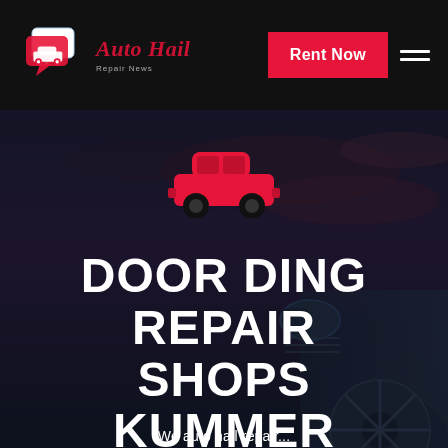[Figure (logo): Auto Hail Repair News logo with speech bubble car icon]
Rent Now
[Figure (photo): Dark dramatic background with a luxury car and cloudy night sky, with red car silhouette icon overlay]
DOOR DING REPAIR SHOPS KUMMER WASHINGTON
We auto hail repair...